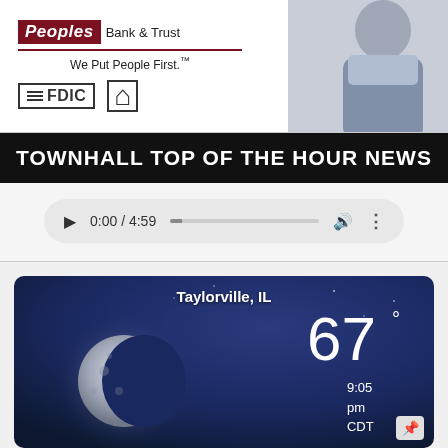[Figure (logo): Peoples Bank & Trust advertisement banner with logo, tagline 'We Put People First.', FDIC and Equal Housing logos, and a photo of a man in a suit]
TOWNHALL TOP OF THE HOUR NEWS
[Figure (screenshot): Audio player showing 0:00 / 4:59 with play button, progress bar, volume and more icons]
[Figure (screenshot): Weather widget showing Taylorville, IL, 67 degrees, 9:05 pm CDT, Clear, with moon phase image]